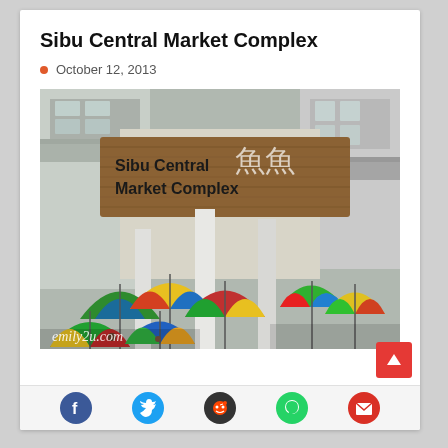Sibu Central Market Complex
October 12, 2013
[Figure (photo): Photo of Sibu Central Market Complex showing colorful market umbrellas below and a wooden signboard reading 'Sibu Central Market Complex' with decorative fish motifs. Watermark reads emily2u.com]
Social sharing icons: Facebook, Twitter, Reddit, WhatsApp, Gmail